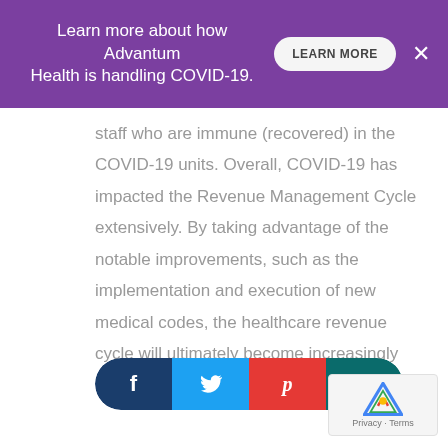Learn more about how Advantum Health is handling COVID-19. LEARN MORE ×
staff who are immune (recovered) in the COVID-19 units. Overall, COVID-19 has impacted the Revenue Management Cycle extensively. By taking advantage of the notable improvements, such as the implementation and execution of new medical codes, the healthcare revenue cycle will ultimately become increasingly resilient for the future.
[Figure (other): Social share buttons bar with Facebook, Twitter, Pinterest, and LinkedIn icons in a pill/rounded rectangle shape]
[Figure (other): Google reCAPTCHA badge with logo and Privacy - Terms text]